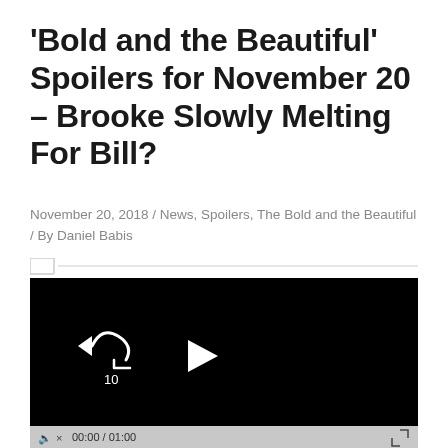'Bold and the Beautiful' Spoilers for November 20 – Brooke Slowly Melting For Bill?
November 20, 2018 / News, Spoilers, The Bold and the Beautiful / By Daniel Babis
[Figure (screenshot): Embedded video player with black background showing rewind-10 button and play button controls, with a progress bar below showing 00:00 / 01:00 and volume/fullscreen controls]